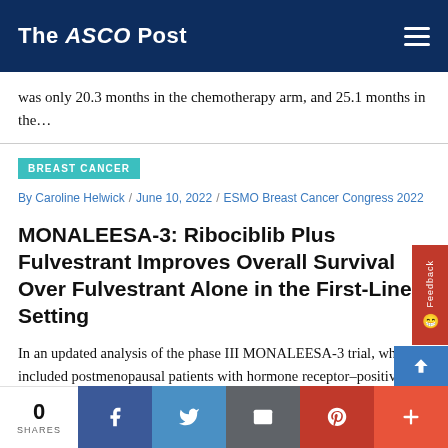The ASCO Post
was only 20.3 months in the chemotherapy arm, and 25.1 months in the…
BREAST CANCER
By Caroline Helwick / June 10, 2022 / ESMO Breast Cancer Congress 2022
MONALEESA-3: Ribociblib Plus Fulvestrant Improves Overall Survival Over Fulvestrant Alone in the First-Line Setting
In an updated analysis of the phase III MONALEESA-3 trial, which included postmenopausal patients with hormone receptor–positive, HER2-negative advanced or metastatic breast cancer, first-line treatment with